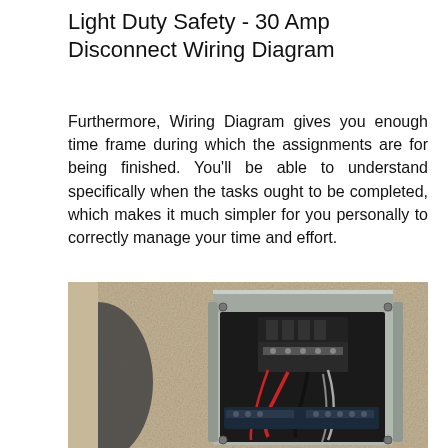Light Duty Safety - 30 Amp Disconnect Wiring Diagram
Furthermore, Wiring Diagram gives you enough time frame during which the assignments are for being finished. You'll be able to understand specifically when the tasks ought to be completed, which makes it much simpler for you personally to correctly manage your time and effort.
[Figure (photo): Photograph of an open 30 amp disconnect box mounted on a stucco wall, showing internal wiring with red and black wires connected to breaker terminals inside a gray metal enclosure.]